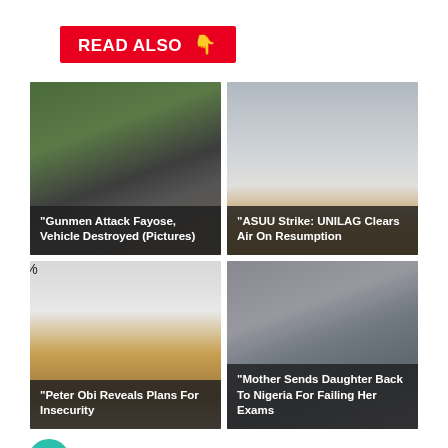READ ALSO 👇
[Figure (photo): Top-left card: blurry image of a person in dark hoodie outdoors with caption 'Gunmen Attack Fayose, Vehicle Destroyed (Pictures)']
[Figure (photo): Top-right card: image of building exterior/window area with caption 'ASUU Strike: UNILAG Clears Air On Resumption']
100%
[Figure (photo): Bottom-left card: partial image of a person's head with light background, caption 'Peter Obi Reveals Plans For Insecurity']
[Figure (photo): Bottom-right card: image of building exterior with windows, caption 'Mother Sends Daughter Back To Nigeria For Failing Her Exams']
Loading...